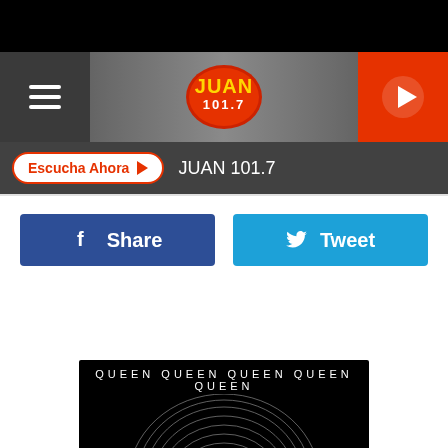[Figure (screenshot): Black top navigation bar]
JUAN 101.7 radio station header with hamburger menu, Juan 101.7 logo, and red play button
Escucha Ahora ▶  JUAN 101.7
[Figure (other): Facebook Share button (blue) and Twitter Tweet button (light blue)]
[Figure (other): Queen album art - black background with repeating QUEEN text and dome/sphere graphic made of concentric lines]